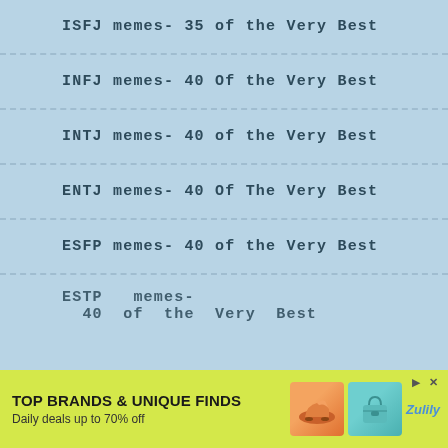ISFJ memes- 35 of the Very Best
INFJ memes- 40 Of the Very Best
INTJ memes- 40 of the Very Best
ENTJ memes- 40 Of The Very Best
ESFP memes- 40 of the Very Best
ESTP memes- 40 of the Very Best (partially visible)
[Figure (infographic): Advertisement banner: TOP BRANDS & UNIQUE FINDS / Daily deals up to 70% off / Zulily branding with shoe and bag images]